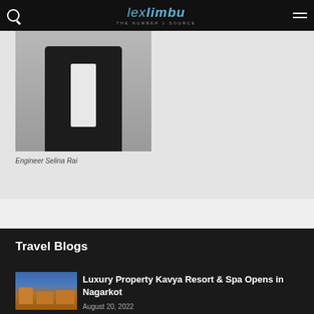lexlimbu THE NUMBER 1 SOURCE
[Figure (photo): Person in dark suit with white shirt, Engineer Selina Rai, upper body photo on gray background]
Engineer Selina Rai
Travel Blogs
[Figure (photo): Thumbnail of Kavya Resort building at dusk with warm orange lighting against blue sky]
Luxury Property Kavya Resort & Spa Opens in Nagarkot
August 20, 2022